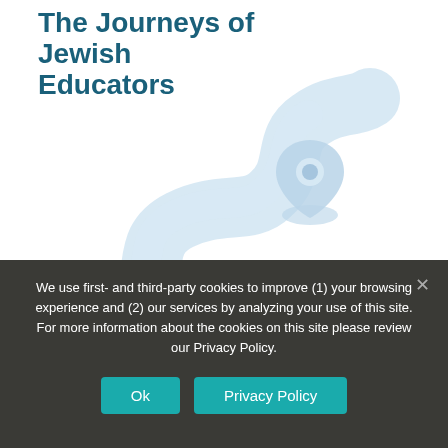The Journeys of Jewish Educators
[Figure (illustration): A light blue winding road path illustration with a map location pin at the top, suggesting a journey. The road curves from bottom-left to upper-right area of the image.]
We use first- and third-party cookies to improve (1) your browsing experience and (2) our services by analyzing your use of this site. For more information about the cookies on this site please review our Privacy Policy.
Ok
Privacy Policy